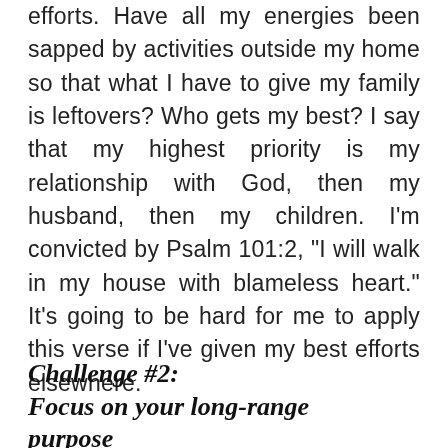efforts. Have all my energies been sapped by activities outside my home so that what I have to give my family is leftovers? Who gets my best? I say that my highest priority is my relationship with God, then my husband, then my children. I'm convicted by Psalm 101:2, "I will walk in my house with blameless heart." It's going to be hard for me to apply this verse if I've given my best efforts elsewhere.
Challenge #2: Focus on your long-range purpose